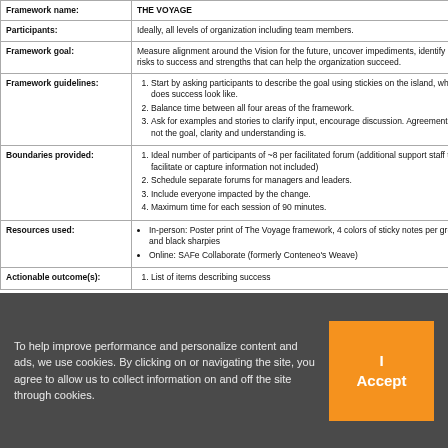|  |  |
| --- | --- |
| Framework name: | THE VOYAGE |
| Participants: | Ideally, all levels of organization including team members. |
| Framework goal: | Measure alignment around the Vision for the future, uncover impediments, identify risks to success and strengths that can help the organization succeed. |
| Framework guidelines: | 1. Start by asking participants to describe the goal using stickies on the island, what does success look like.
2. Balance time between all four areas of the framework.
3. Ask for examples and stories to clarify input, encourage discussion. Agreement is not the goal, clarity and understanding is. |
| Boundaries provided: | 1. Ideal number of participants of ~8 per facilitated forum (additional support staff to facilitate or capture information not included)
2. Schedule separate forums for managers and leaders.
3. Include everyone impacted by the change.
4. Maximum time for each session of 90 minutes. |
| Resources used: | • In-person: Poster print of The Voyage framework, 4 colors of sticky notes per group and black sharpies
• Online: SAFe Collaborate (formerly Conteneo's Weave) |
| Actionable outcome(s): | 1. List of items describing success |
To help improve performance and personalize content and ads, we use cookies. By clicking on or navigating the site, you agree to allow us to collect information on and off the site through cookies.